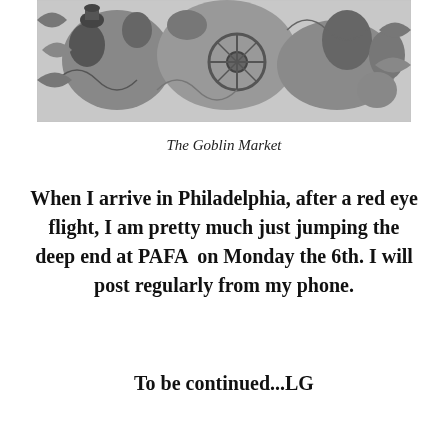[Figure (illustration): Black and white detailed pencil or charcoal artwork depicting a fantastical goblin market scene with elaborate figures, a wheel, ornate decorative elements, and various characters in a dense composition.]
The Goblin Market
When I arrive in Philadelphia, after a red eye flight, I am pretty much just jumping the deep end at PAFA  on Monday the 6th. I will post regularly from my phone.
To be continued...LG